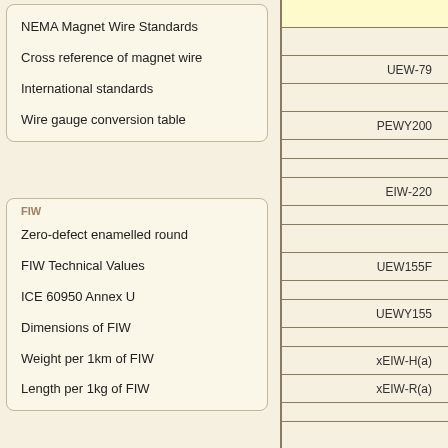NEMA Magnet Wire Standards
Cross reference of magnet wire
International standards
Wire gauge conversion table
FIW
Zero-defect enamelled round
FIW Technical Values
ICE 60950 Annex U
Dimensions of FIW
Weight per 1km of FIW
Length per 1kg of FIW
|  |
| UEW-79 |
|  |
| PEWY200 |
|  |
|  |
| EIW-220 |
|  |
| UEW155F |
|  |
| UEWY155 |
|  |
| xEIW-H(a) |
| xEIW-R(a) |
|  |
| UEWY-U |